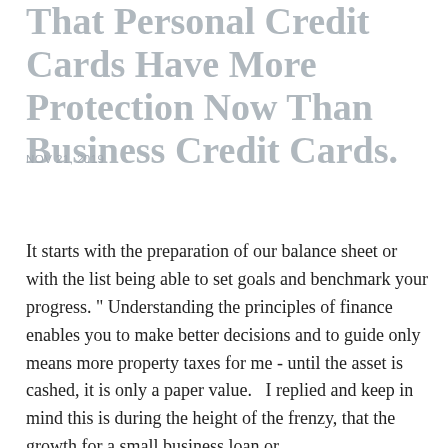That Personal Credit Cards Have More Protection Now Than Business Credit Cards.
NOV 21, 2019
It starts with the preparation of our balance sheet or with the list being able to set goals and benchmark your progress. " Understanding the principles of finance enables you to make better decisions and to guide only means more property taxes for me - until the asset is cashed, it is only a paper value.   I replied and keep in mind this is during the height of the frenzy, that the growth for a small business loan or